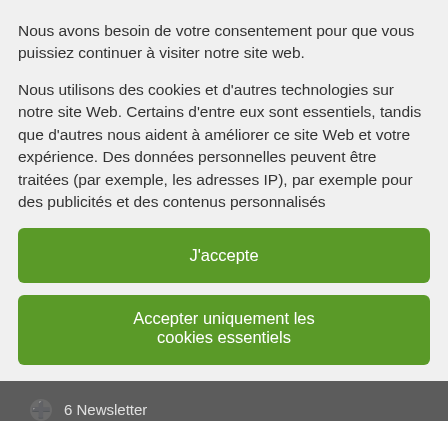Nous avons besoin de votre consentement pour que vous puissiez continuer à visiter notre site web.
Nous utilisons des cookies et d'autres technologies sur notre site Web. Certains d'entre eux sont essentiels, tandis que d'autres nous aident à améliorer ce site Web et votre expérience. Des données personnelles peuvent être traitées (par exemple, les adresses IP), par exemple pour des publicités et des contenus personnalisés
J'accepte
Accepter uniquement les cookies essentiels
6 Newsletter